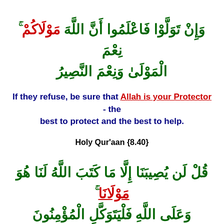وَإِنْ تَوَلَّوْا فَاعْلَمُوا أَنَّ اللَّهَ مَوْلَاكُمْ ۚ نِعْمَ الْمَوْلَىٰ وَنِعْمَ النَّصِيرُ
If they refuse, be sure that Allah is your Protector - the best to protect and the best to help.
Holy Qur'aan {8.40}
قُلْ لَن يُصِيبَنَا إِلَّا مَا كَتَبَ اللَّهُ لَنَا هُوَ مَوْلَانَا ۚ وَعَلَى اللَّهِ فَلْيَتَوَكَّلِ الْمُؤْمِنُونَ